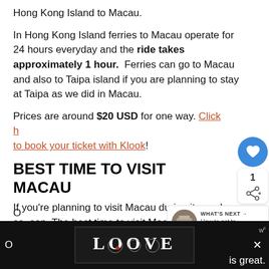Hong Kong Island to Macau.
In Hong Kong Island ferries to Macau operate for 24 hours everyday and the ride takes approximately 1 hour. Ferries can go to Macau and also to Taipa island if you are planning to stay at Taipa as we did in Macau.
Prices are around $20 USD for one way. Click here to book your ticket with Klook!
BEST TIME TO VISIT MACAU
If you're planning to visit Macau during its peak season. The best time to visit Macau is from O... is great.
[Figure (screenshot): UI overlay with heart/like button (blue circle) showing count 1, and a share button below]
[Figure (screenshot): What's Next widget: thumbnail image and text 'How to get to Macau from...']
[Figure (screenshot): Bottom advertisement banner with LOOVE logo on black background with close X button and partial text 'is great.']